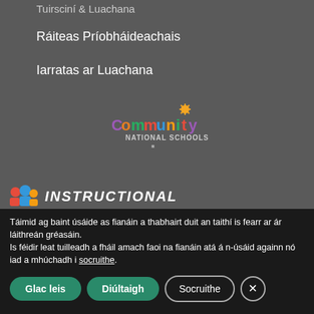Tuirsciní & Luachana
Ráiteas Príobháideachais
Iarratas ar Luachana
[Figure (logo): Community National Schools logo with colorful text and sunflower graphic]
[Figure (logo): Instructional logo with colorful puzzle pieces icon]
Táimid ag baint úsáide as fianáin a thabhairt duit an taithí is fearr ar ár láithreán gréasáin.
Is féidir leat tuilleadh a fháil amach faoi na fianáin atá á n-úsáid againn nó iad a mhúchadh i socruithe.
Glac leis
Diúltaigh
Socruithe